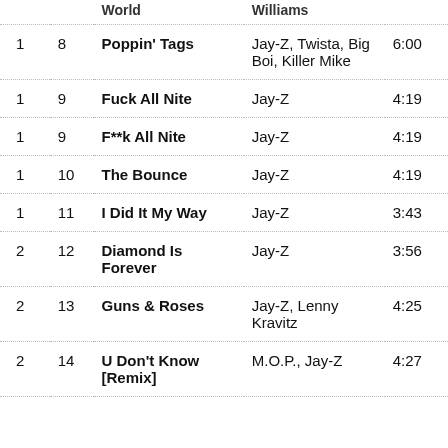| Disc | Track | Title | Artists | Duration |
| --- | --- | --- | --- | --- |
| 1 | 8 | Poppin' Tags | Jay-Z, Twista, Big Boi, Killer Mike | 6:00 |
| 1 | 9 | Fuck All Nite | Jay-Z | 4:19 |
| 1 | 9 | F**k All Nite | Jay-Z | 4:19 |
| 1 | 10 | The Bounce | Jay-Z | 4:19 |
| 1 | 11 | I Did It My Way | Jay-Z | 3:43 |
| 2 | 12 | Diamond Is Forever | Jay-Z | 3:56 |
| 2 | 13 | Guns & Roses | Jay-Z, Lenny Kravitz | 4:25 |
| 2 | 14 | U Don't Know [Remix] | M.O.P., Jay-Z | 4:27 |